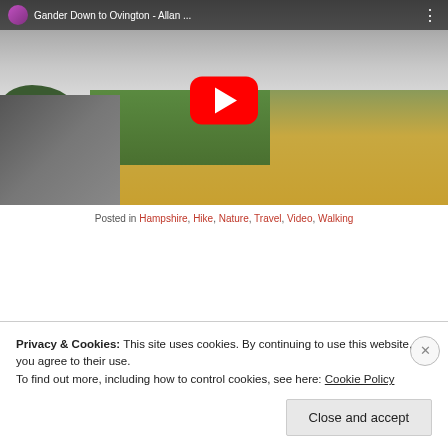[Figure (screenshot): YouTube video thumbnail showing a countryside road scene with fields and cloudy sky. Title bar reads 'Gander Down to Ovington - Allan ...' with a red YouTube play button centered on the image.]
Posted in Hampshire, Hike, Nature, Travel, Video, Walking
Privacy & Cookies: This site uses cookies. By continuing to use this website, you agree to their use.
To find out more, including how to control cookies, see here: Cookie Policy